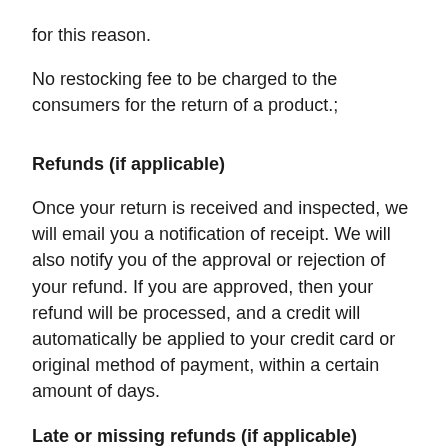for this reason.
No restocking fee to be charged to the consumers for the return of a product.;
Refunds (if applicable)
Once your return is received and inspected, we will email you a notification of receipt. We will also notify you of the approval or rejection of your refund. If you are approved, then your refund will be processed, and a credit will automatically be applied to your credit card or original method of payment, within a certain amount of days.
Late or missing refunds (if applicable)
If you haven't received a refund yet, first check your bank